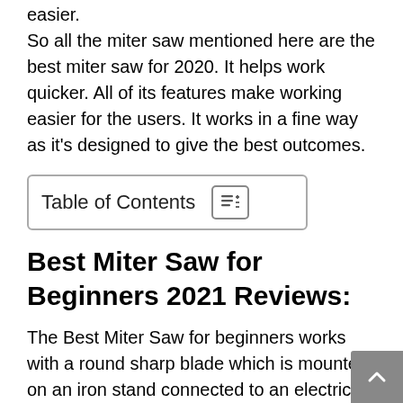easier.
So all the miter saw mentioned here are the best miter saw for 2020. It helps work quicker. All of its features make working easier for the users. It works in a fine way as it's designed to give the best outcomes.
Table of Contents
Best Miter Saw for Beginners 2021 Reviews:
The Best Miter Saw for beginners works with a round sharp blade which is mounted on an iron stand connected to an electrical motor. Blades of the saw can be moved in either direction from horizontal to vertical and vice